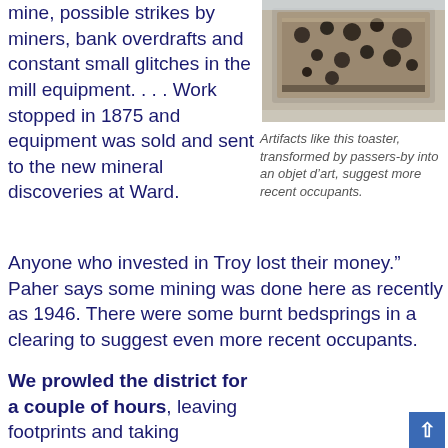mine, possible strikes by miners, bank overdrafts and constant small glitches in the mill equipment. . . . Work stopped in 1875 and equipment was sold and sent to the new mineral discoveries at Ward.
[Figure (photo): A rusted metal toaster with holes, transformed by passers-by into an objet d'art]
Artifacts like this toaster, transformed by passers-by into an objet d’art, suggest more recent occupants.
Anyone who invested in Troy lost their money.” Paher says some mining was done here as recently as 1946. There were some burnt bedsprings in a clearing to suggest even more recent occupants.
We prowled the district for a couple of hours, leaving footprints and taking photographs. There
[Figure (photo): Gravestone in a cemetery reading GARRETT with names FORD, CHARLES, MARY below, and a CHRISTIAN marker visible at bottom]